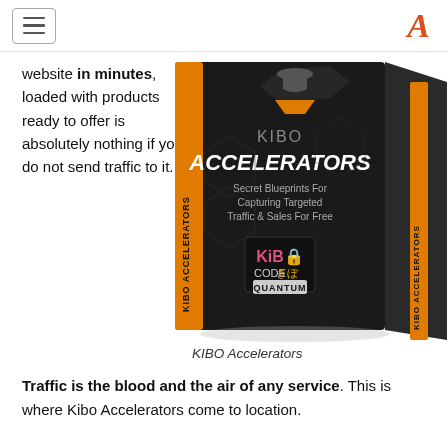website in minutes, loaded with products ready to offer is absolutely nothing if you do not send traffic to it. Traffic is the blood and the air of any service. This is where Kibo Accelerators come to location.
[Figure (photo): Product box for KIBO Accelerators - Secret Blueprints For Capturing Targeted Traffic & Sales For Free, branded with Kibo Code Quantum logo.]
KIBO Accelerators